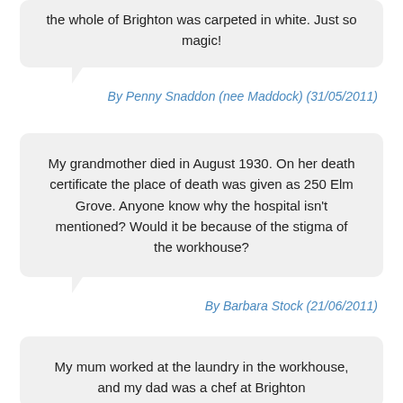the whole of Brighton was carpeted in white. Just so magic!
By Penny Snaddon (nee Maddock) (31/05/2011)
My grandmother died in August 1930. On her death certificate the place of death was given as 250 Elm Grove. Anyone know why the hospital isn’t mentioned? Would it be because of the stigma of the workhouse?
By Barbara Stock (21/06/2011)
My mum worked at the laundry in the workhouse, and my dad was a chef at Brighton